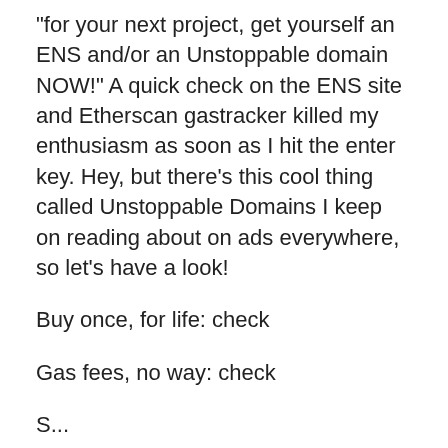"for your next project, get yourself an ENS and/or an Unstoppable domain NOW!" A quick check on the ENS site and Etherscan gastracker killed my enthusiasm as soon as I hit the enter key. Hey, but there's this cool thing called Unstoppable Domains I keep on reading about on ads everywhere, so let's have a look!
Buy once, for life: check
Gas fees, no way: check
S...